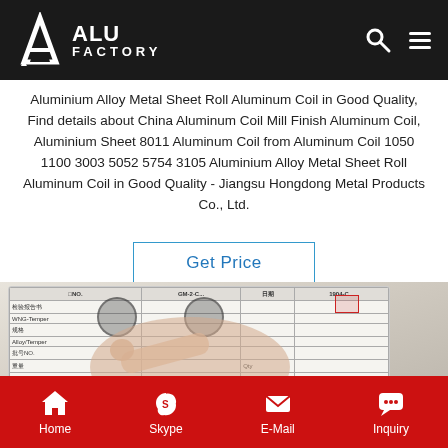[Figure (logo): ALU FACTORY logo on dark header bar with search and menu icons]
Aluminium Alloy Metal Sheet Roll Aluminum Coil in Good Quality, Find details about China Aluminum Coil Mill Finish Aluminum Coil, Aluminium Sheet 8011 Aluminum Coil from Aluminum Coil 1050 1100 3003 5052 5754 3105 Aluminium Alloy Metal Sheet Roll Aluminum Coil in Good Quality - Jiangsu Hongdong Metal Products Co., Ltd.
[Figure (other): Button or link: Get Price]
[Figure (photo): Person's hand pointing at a document/inspection sheet with stamps on aluminum metal surface]
Home   Skype   E-Mail   Inquiry